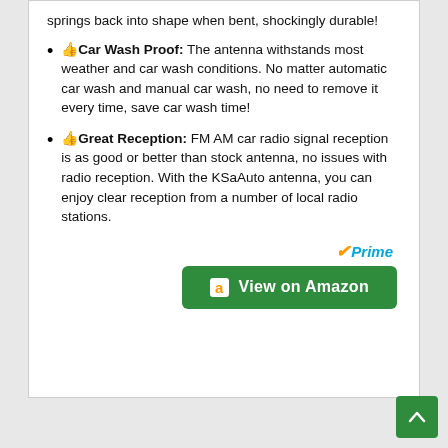springs back into shape when bent, shockingly durable!
👍Car Wash Proof: The antenna withstands most weather and car wash conditions. No matter automatic car wash and manual car wash, no need to remove it every time, save car wash time!
👍Great Reception: FM AM car radio signal reception is as good or better than stock antenna, no issues with radio reception. With the KSaAuto antenna, you can enjoy clear reception from a number of local radio stations.
[Figure (logo): Amazon Prime logo with orange checkmark and blue italic Prime text, followed by a green 'View on Amazon' button with Amazon 'a' icon]